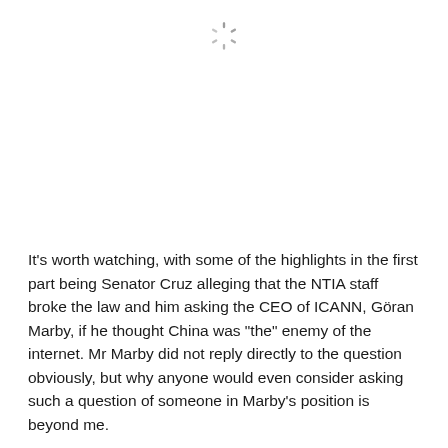[Figure (other): A loading spinner icon (circular dashed spinner) centered near the top of the page]
It's worth watching, with some of the highlights in the first part being Senator Cruz alleging that the NTIA staff broke the law and him asking the CEO of ICANN, Göran Marby, if he thought China was "the" enemy of the internet. Mr Marby did not reply directly to the question obviously, but why anyone would even consider asking such a question of someone in Marby's position is beyond me.